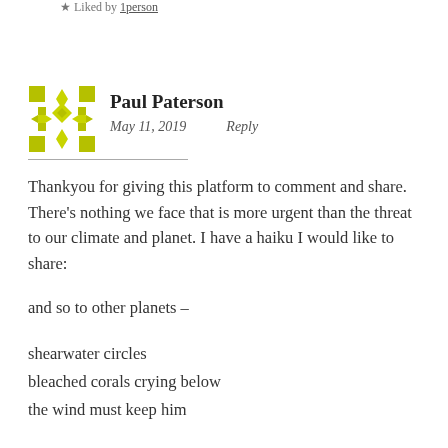★ Liked by 1person
[Figure (illustration): Yellow/olive geometric avatar icon for Paul Paterson]
Paul Paterson
May 11, 2019   Reply
Thankyou for giving this platform to comment and share. There's nothing we face that is more urgent than the threat to our climate and planet. I have a haiku I would like to share:
and so to other planets –
shearwater circles
bleached corals crying below
the wind must keep him